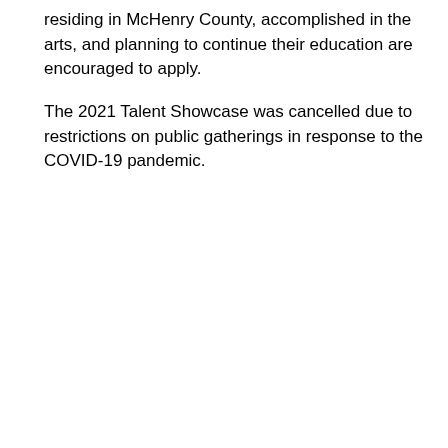residing in McHenry County, accomplished in the arts, and planning to continue their education are encouraged to apply.
The 2021 Talent Showcase was cancelled due to restrictions on public gatherings in response to the COVID-19 pandemic.